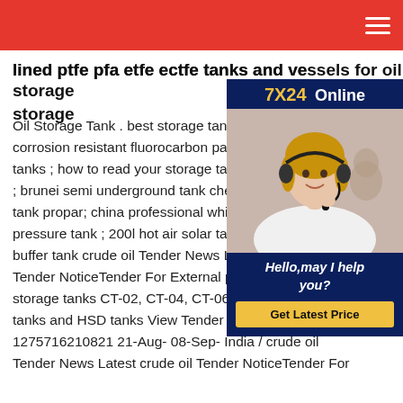lined ptfe pfa etfe ectfe tanks and vessels for oil storage
lined ptfe pfa etfe ectfe tanks and vessels for oil storage
[Figure (photo): Customer service representative woman with headset smiling, with '7X24 Online' header, 'Hello, may I help you?' text and 'Get Latest Price' button on dark blue background]
Oil Storage Tank . best storage tank ins corrosion resistant fluorocarbon paint us tanks ; how to read your storage tank g ; brunei semi underground tank chemica tank propar; china professional white 4 pressure tank ; 200l hot air solar tank 3 buffer tank crude oil Tender News Late Tender NoticeTender For External painting of Crude oil storage tanks CT-02, CT-04, CT-06, fire water storage tanks and HSD tanks View Tender Detail 1275716210821 21-Aug- 08-Sep- India / crude oil Tender News Latest crude oil Tender NoticeTender For